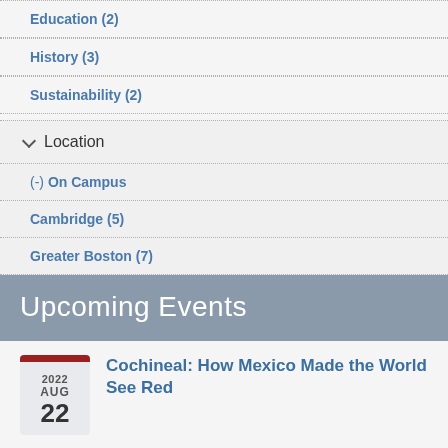Education (2)
History (3)
Sustainability (2)
Location
(-) On Campus
Cambridge (5)
Greater Boston (7)
Upcoming Events
Cochineal: How Mexico Made the World See Red
2022 AUG 22